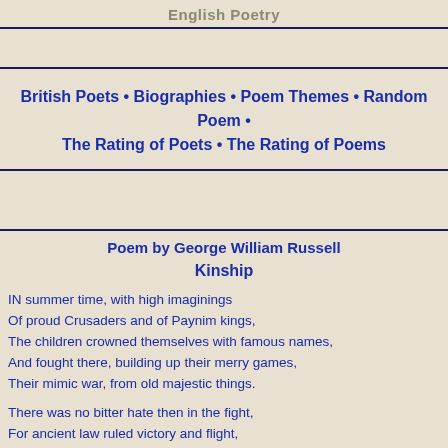English Poetry
British Poets • Biographies • Poem Themes • Random Poem • The Rating of Poets • The Rating of Poems
Poem by George William Russell
Kinship
IN summer time, with high imaginings
Of proud Crusaders and of Paynim kings,
The children crowned themselves with famous names,
And fought there, building up their merry games,
Their mimic war, from old majestic things.

There was no bitter hate then in the fight,
For ancient law ruled victory and flight,
And, victory and defeat alike forgot,
They slept together in the selfsame cot.